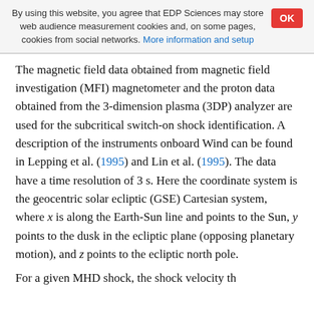By using this website, you agree that EDP Sciences may store web audience measurement cookies and, on some pages, cookies from social networks. More information and setup.
The magnetic field data obtained from magnetic field investigation (MFI) magnetometer and the proton data obtained from the 3-dimension plasma (3DP) analyzer are used for the subcritical switch-on shock identification. A description of the instruments onboard Wind can be found in Lepping et al. (1995) and Lin et al. (1995). The data have a time resolution of 3 s. Here the coordinate system is the geocentric solar ecliptic (GSE) Cartesian system, where x is along the Earth-Sun line and points to the Sun, y points to the dusk in the ecliptic plane (opposing planetary motion), and z points to the ecliptic north pole.
For a given MHD shock, the shock velocity...